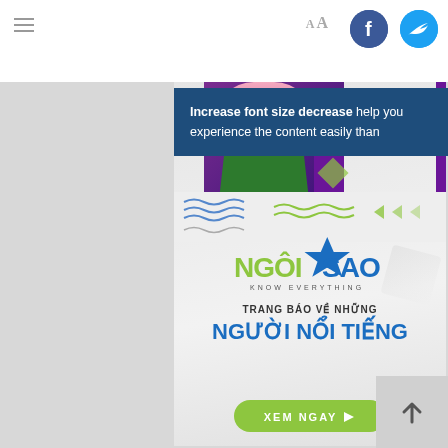≡   Aa  [Facebook] [Twitter]
[Figure (screenshot): Tooltip overlay: 'Increase font size decrease help you experience the content easily than']
[Figure (infographic): NgôiSao advertisement banner with a woman with pink hair in green jacket, logo 'NGÔISAO Know everything', text 'TRANG BÁO VỀ NHỮNG NGƯỜI NỔI TIẾNG', green CTA button 'XEM NGAY']
Increase font size decrease help you experience the content easily than